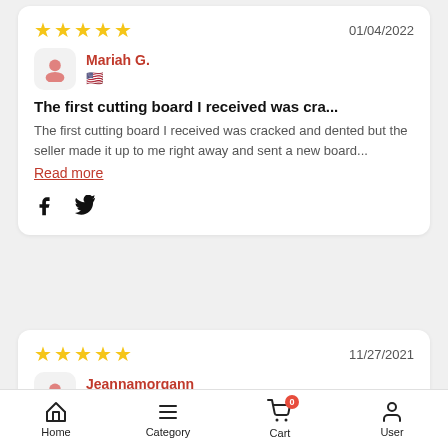[Figure (screenshot): Review card 1: 5-star rating dated 01/04/2022, reviewer Mariah G. with US flag, review title 'The first cutting board I received was cra...', review body text, Read more link, and Facebook/Twitter social share icons.]
[Figure (screenshot): Review card 2: 5-star rating dated 11/27/2021, reviewer Jeannamorgann with US flag, review title 'Such a great gift idea! These are thinner...']
Home  Category  Cart  User